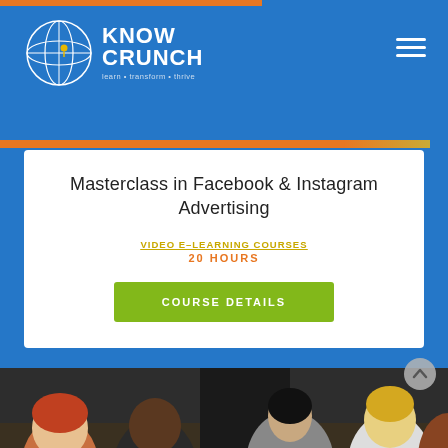[Figure (logo): Know Crunch logo with globe icon and tagline 'learn • transform • thrive']
Masterclass in Facebook & Instagram Advertising
VIDEO E-LEARNING COURSES
20 HOURS
COURSE DETAILS
[Figure (photo): Group of diverse business professionals collaborating around a table, looking at documents]